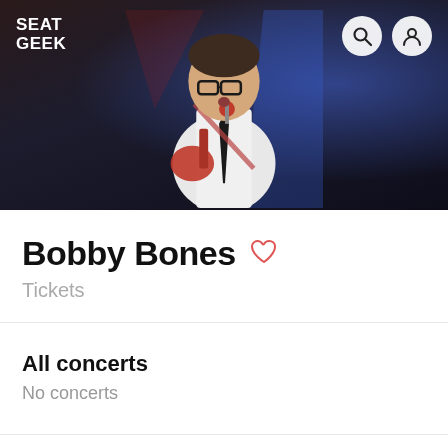[Figure (photo): Hero image of Bobby Bones performing on stage, singing into a red microphone while holding a red electric guitar, wearing glasses, white shirt and tie, with a blue stage light and dark background. SeatGeek logo in top-left, search and user icons in top-right.]
Bobby Bones
Tickets
All concerts
No concerts
SeatGeek Buyer Guarantee